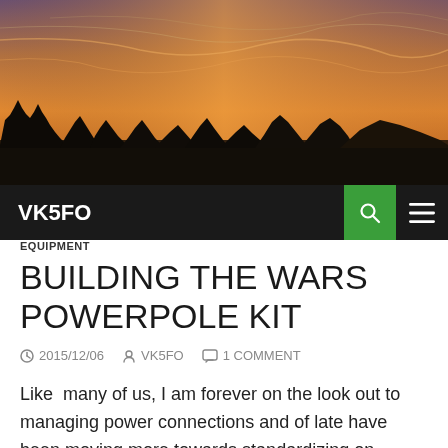[Figure (photo): Panoramic landscape photo of a sunset with orange and purple sky, silhouetted trees and hills along the horizon]
VK5FO
EQUIPMENT
BUILDING THE WARS POWERPOLE KIT
2015/12/06  VK5FO  1 COMMENT
Like  many of us, I am forever on the look out to managing power connections and of late have been moving more towards standardizing on Powerpoles for my (up to) 45A Connections.